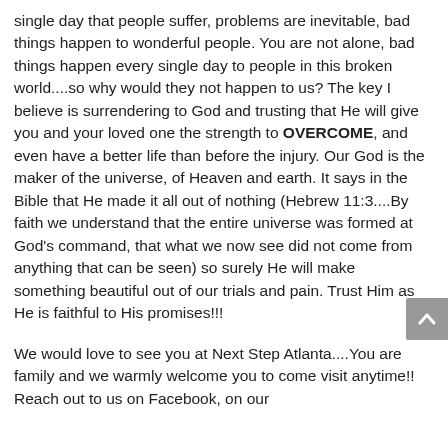single day that people suffer, problems are inevitable, bad things happen to wonderful people. You are not alone, bad things happen every single day to people in this broken world....so why would they not happen to us? The key I believe is surrendering to God and trusting that He will give you and your loved one the strength to OVERCOME, and even have a better life than before the injury. Our God is the maker of the universe, of Heaven and earth. It says in the Bible that He made it all out of nothing (Hebrew 11:3....By faith we understand that the entire universe was formed at God's command, that what we now see did not come from anything that can be seen) so surely He will make something beautiful out of our trials and pain. Trust Him as He is faithful to His promises!!!
We would love to see you at Next Step Atlanta....You are family and we warmly welcome you to come visit anytime!! Reach out to us on Facebook, on our